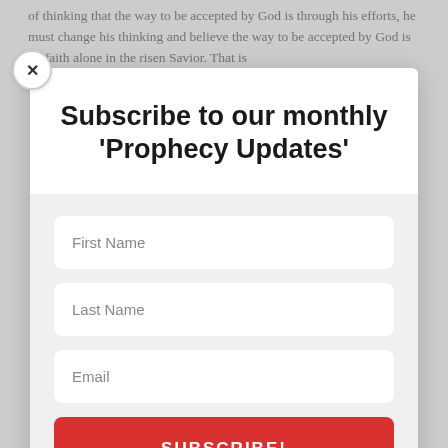of thinking that the way to be accepted by God is through his efforts, he must change his thinking and believe the way to be accepted by God is by faith alone in the risen Savior. That is
Subscribe to our monthly 'Prophecy Updates'
First Name
Last Name
Email
SUBSCRIBE!